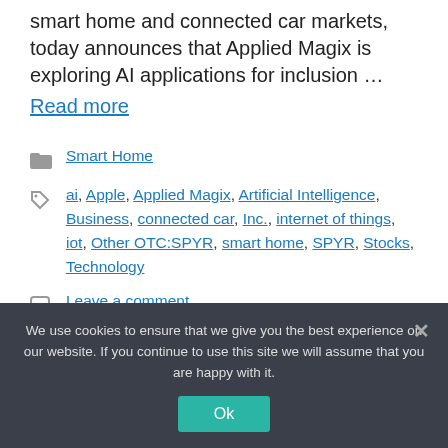smart home and connected car markets, today announces that Applied Magix is exploring AI applications for inclusion …
Read more
Categories: Smart Home
Tags: ai, Apple, Applied Magix, Artificial Intelligence, Business, connected car, Inc., internet of things, iot, Other OTC:SPYR, smart home, SPYR, Stocks, Technology
Leave a comment
We use cookies to ensure that we give you the best experience on our website. If you continue to use this site we will assume that you are happy with it. Ok